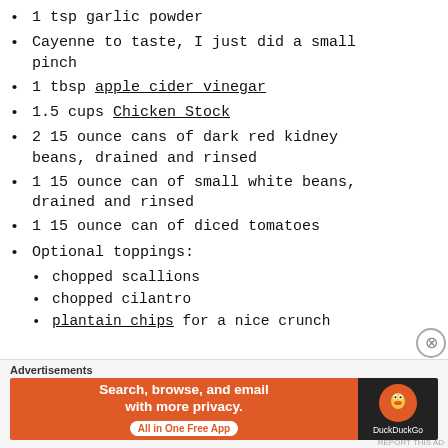1 tsp garlic powder
Cayenne to taste, I just did a small pinch
1 tbsp apple cider vinegar
1.5 cups Chicken Stock
2 15 ounce cans of dark red kidney beans, drained and rinsed
1 15 ounce can of small white beans, drained and rinsed
1 15 ounce can of diced tomatoes
Optional toppings:
chopped scallions
chopped cilantro
plantain chips for a nice crunch
Advertisements
[Figure (infographic): DuckDuckGo advertisement banner: orange background with white text 'Search, browse, and email with more privacy. All in One Free App' and DuckDuckGo logo on dark background]